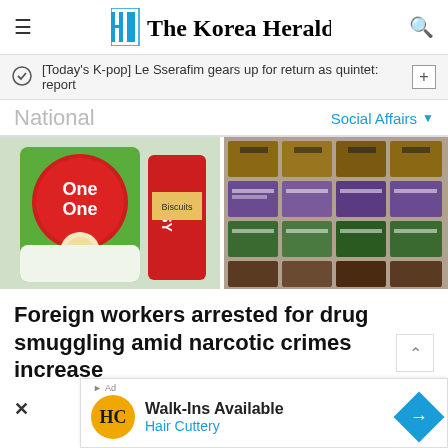The Korea Herald
[Today's K-pop] Le Sserafim gears up for return as quintet: report
National
Social Affairs
[Figure (photo): Left side: Snack food packages including 'One One' rice cracker bag and 'COSY' biscuit pack in a refrigerator. Right side: Multiple boxes of packaged goods stacked together, suspected to contain smuggled drugs.]
Foreign workers arrested for drug smuggling amid narcotic crimes increase
Walk-Ins Available Hair Cuttery